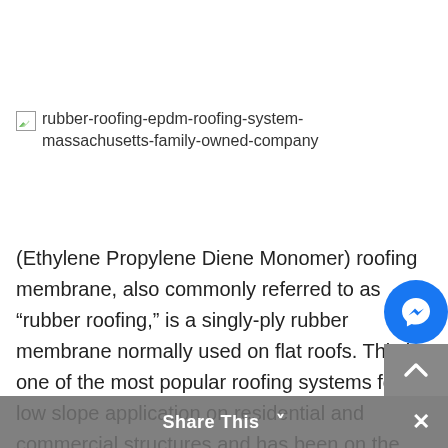[Figure (other): Broken image placeholder with alt text: rubber-roofing-epdm-roofing-system-massachusetts-family-owned-company]
(Ethylene Propylene Diene Monomer) roofing membrane, also commonly referred to as “rubber roofing,” is a singly-ply rubber membrane normally used on flat roofs. This is one of the most popular roofing systems for low slope application on residential and commercial structures and has been on the market for over fo... for good reasons.
Share This ✓ ×